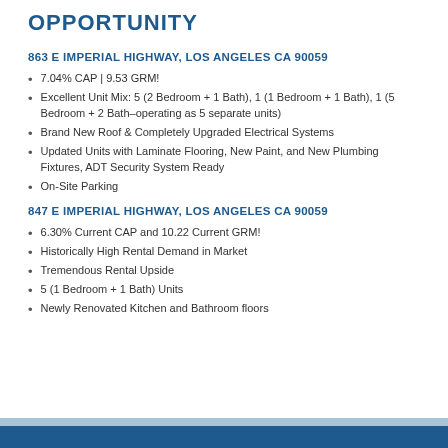OPPORTUNITY
863 E IMPERIAL HIGHWAY, LOS ANGELES CA 90059
7.04% CAP | 9.53 GRM!
Excellent Unit Mix: 5 (2 Bedroom + 1 Bath), 1 (1 Bedroom + 1 Bath), 1 (5 Bedroom + 2 Bath–operating as 5 separate units)
Brand New Roof & Completely Upgraded Electrical Systems
Updated Units with Laminate Flooring, New Paint, and New Plumbing Fixtures, ADT Security System Ready
On-Site Parking
847 E IMPERIAL HIGHWAY, LOS ANGELES CA 90059
6.30% Current CAP and 10.22 Current GRM!
Historically High Rental Demand in Market
Tremendous Rental Upside
5 (1 Bedroom + 1 Bath) Units
Newly Renovated Kitchen and Bathroom floors